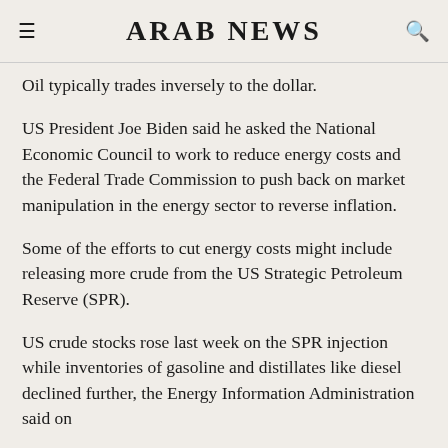ARAB NEWS
Oil typically trades inversely to the dollar.
US President Joe Biden said he asked the National Economic Council to work to reduce energy costs and the Federal Trade Commission to push back on market manipulation in the energy sector to reverse inflation.
Some of the efforts to cut energy costs might include releasing more crude from the US Strategic Petroleum Reserve (SPR).
US crude stocks rose last week on the SPR injection while inventories of gasoline and distillates like diesel declined further, the Energy Information Administration said on